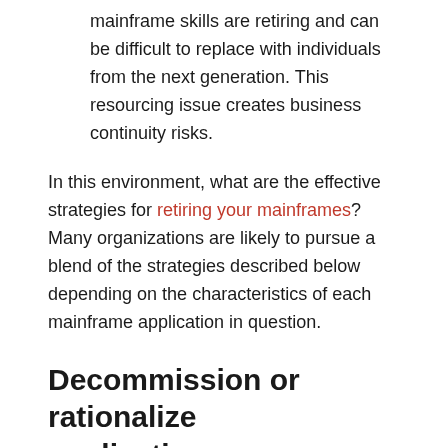mainframe skills are retiring and can be difficult to replace with individuals from the next generation. This resourcing issue creates business continuity risks.
In this environment, what are the effective strategies for retiring your mainframes? Many organizations are likely to pursue a blend of the strategies described below depending on the characteristics of each mainframe application in question.
Decommission or rationalize applications
Before you spend any money on migrating mainframe applications to a new computing environment, it's useful to confirm that every application is still needed